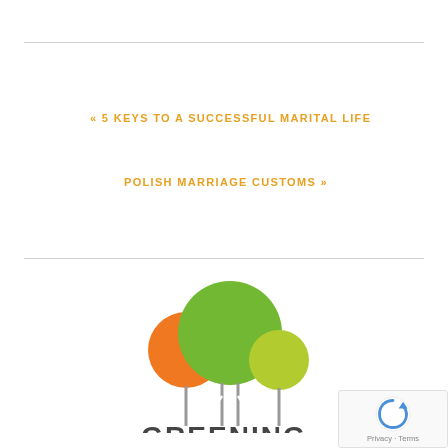« 5 KEYS TO A SUCCESSFUL MARITAL LIFE
POLISH MARRIAGE CUSTOMS »
[Figure (logo): Greening logo with three stylized trees (orange, green, yellow-green) above the word GREENING in dark gray bold text]